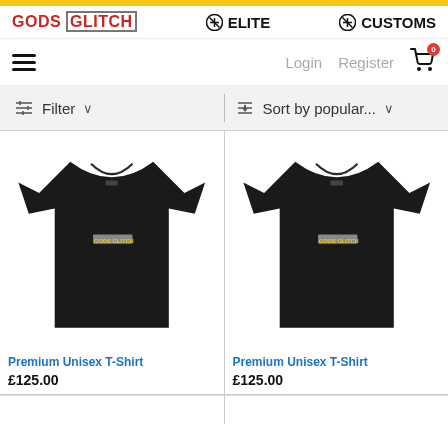GODS GLITCH | ELITE | CUSTOMS
Login | Register | Cart (0)
Filter | Sort by popular...
[Figure (photo): Black Premium Unisex T-Shirt with small GODS GLITCH logo on chest, left product card]
Premium Unisex T-Shirt
£125.00
[Figure (photo): Black Premium Unisex T-Shirt with small GODS GLITCH logo on chest, right product card]
Premium Unisex T-Shirt
£125.00